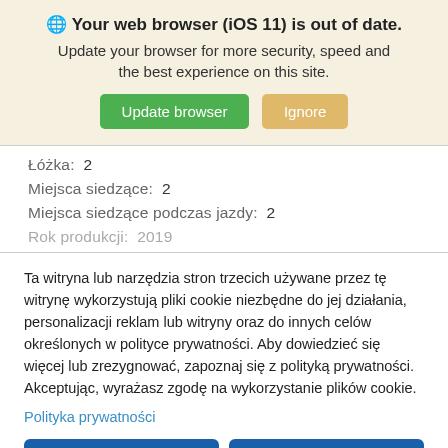🌐 Your web browser (iOS 11) is out of date. Update your browser for more security, speed and the best experience on this site.
Łóżka:  2
Miejsca siedzące:  2
Miejsca siedzące podczas jazdy:  2
Rok produkcji:  2019
Ta witryna lub narzędzia stron trzecich używane przez tę witrynę wykorzystują pliki cookie niezbędne do jej działania, personalizacji reklam lub witryny oraz do innych celów określonych w polityce prywatności. Aby dowiedzieć się więcej lub zrezygnować, zapoznaj się z polityką prywatności. Akceptując, wyrażasz zgodę na wykorzystanie plików cookie.
Polityka prywatności
Zarządzaj moimi plikami cookie
Zaakceptuj wszystko